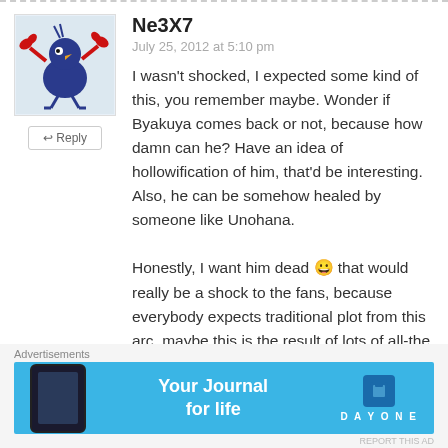Ne3X7
July 25, 2012 at 5:10 pm
I wasn't shocked, I expected some kind of this, you remember maybe. Wonder if Byakuya comes back or not, because how damn can he? Have an idea of hollowification of him, that'd be interesting. Also, he can be somehow healed by someone like Unohana.

Honestly, I want him dead 😀 that would really be a shock to the fans, because everybody expects traditional plot from this arc, maybe this is the result of lots of all-the
[Figure (illustration): Avatar of user Ne3X7 showing a cartoon blue bird/raven with red crab claws]
↩ Reply
Advertisements
[Figure (screenshot): Day One app advertisement banner: Your Journal for life]